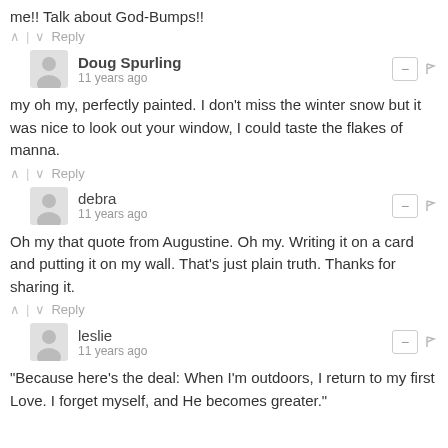me!! Talk about God-Bumps!!
^ | v Reply
Doug Spurling
11 years ago
my oh my, perfectly painted. I don't miss the winter snow but it was nice to look out your window, I could taste the flakes of manna.
^ | v Reply
debra
11 years ago
Oh my that quote from Augustine. Oh my. Writing it on a card and putting it on my wall. That's just plain truth. Thanks for sharing it.
^ | v Reply
leslie
11 years ago
"Because here's the deal: When I'm outdoors, I return to my first Love. I forget myself, and He becomes greater."